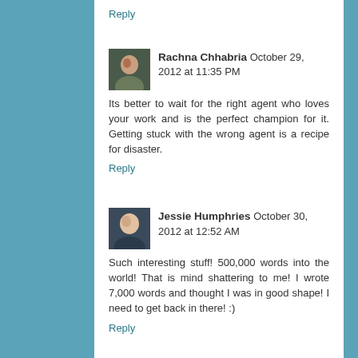Reply
[Figure (photo): Avatar photo of Rachna Chhabria]
Rachna Chhabria October 29, 2012 at 11:35 PM
Its better to wait for the right agent who loves your work and is the perfect champion for it. Getting stuck with the wrong agent is a recipe for disaster.
Reply
[Figure (photo): Avatar photo of Jessie Humphries]
Jessie Humphries October 30, 2012 at 12:52 AM
Such interesting stuff! 500,000 words into the world! That is mind shattering to me! I wrote 7,000 words and thought I was in good shape! I need to get back in there! :)
Reply